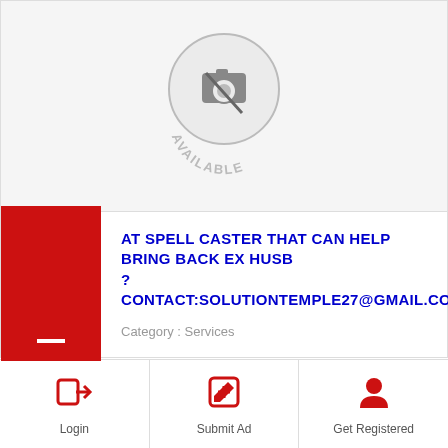[Figure (illustration): No image available placeholder with camera icon in a circle and 'AVAILABLE' text in arc below]
AT SPELL CASTER THAT CAN HELP BRING BACK EX HUSB ?CONTACT:SOLUTIONTEMPLE27@GMAIL.COM
Category : Services
[Figure (infographic): Bottom navigation bar with Login, Submit Ad, and Get Registered buttons with icons]